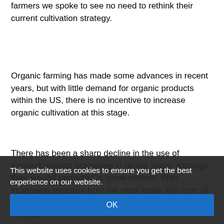farmers we spoke to see no need to rethink their current cultivation strategy.
Organic farming has made some advances in recent years, but with little demand for organic products within the US, there is no incentive to increase organic cultivation at this stage.
There has been a sharp decline in the use of antibiotic growth promoters in recent years, although they are still permitted in some sectors. With increasing pressure from the retail trade, this form of performance enhancement will soon be consigned to the past.
Animal welfare and Sustainability
Animal welfare and sustainability are important issues in the US too, although they are discussed in different ways to Europe. Apart from the group rearing of sows, there
This website uses cookies to ensure you get the best experience on our website.